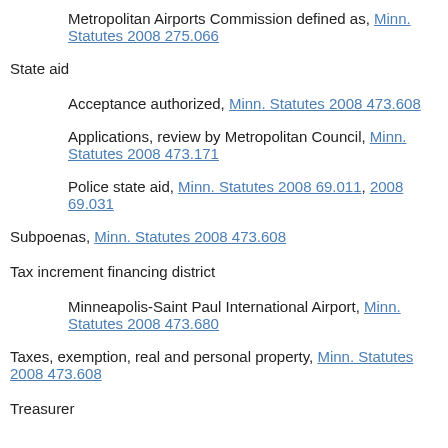Metropolitan Airports Commission defined as, Minn. Statutes 2008 275.066
State aid
Acceptance authorized, Minn. Statutes 2008 473.608
Applications, review by Metropolitan Council, Minn. Statutes 2008 473.171
Police state aid, Minn. Statutes 2008 69.011, 2008 69.031
Subpoenas, Minn. Statutes 2008 473.608
Tax increment financing district
Minneapolis-Saint Paul International Airport, Minn. Statutes 2008 473.680
Taxes, exemption, real and personal property, Minn. Statutes 2008 473.608
Treasurer